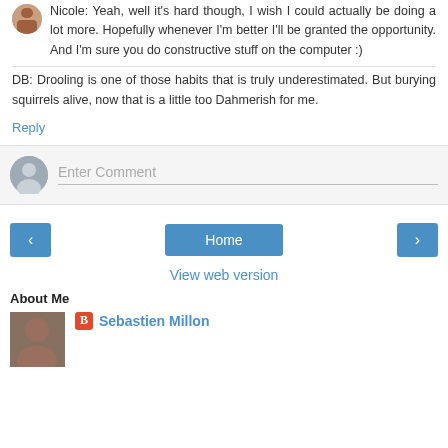Nicole: Yeah, well it's hard though, I wish I could actually be doing a lot more. Hopefully whenever I'm better I'll be granted the opportunity. And I'm sure you do constructive stuff on the computer :)
DB: Drooling is one of those habits that is truly underestimated. But burying squirrels alive, now that is a little too Dahmerish for me.
Reply
Enter Comment
Home
View web version
About Me
Sebastien Millon